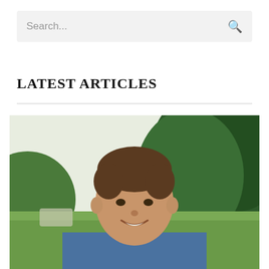[Figure (screenshot): Search bar with placeholder text 'Search...' and a magnifying glass icon on the right, on a light gray background]
LATEST ARTICLES
[Figure (photo): Outdoor portrait photo of a smiling man with short brown hair, wearing a blue button-up shirt, photographed in front of green trees and grass]